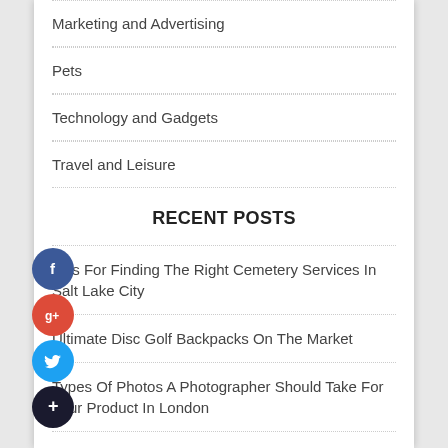Marketing and Advertising
Pets
Technology and Gadgets
Travel and Leisure
RECENT POSTS
Tips For Finding The Right Cemetery Services In Salt Lake City
Ultimate Disc Golf Backpacks On The Market
Types Of Photos A Photographer Should Take For Your Product In London
How To Create Your Glass Guitar Slide
Why Do Frankston People Consider BJJ To Stay Fit?